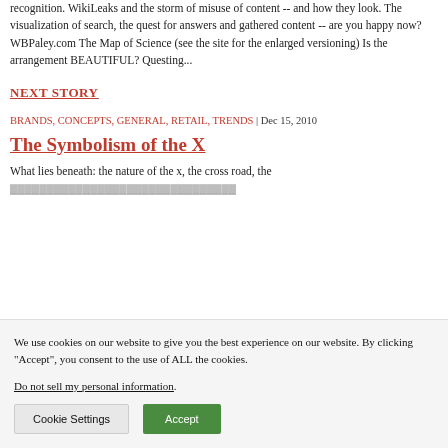recognition. WikiLeaks and the storm of misuse of content -- and how they look. The visualization of search, the quest for answers and gathered content -- are you happy now? WBPaley.com The Map of Science (see the site for the enlarged versioning) Is the arrangement BEAUTIFUL? Questing...
NEXT STORY
BRANDS, CONCEPTS, GENERAL, RETAIL, TRENDS | Dec 15, 2010
The Symbolism of the X
What lies beneath: the nature of the x, the cross road, the
We use cookies on our website to give you the best experience on our website. By clicking “Accept”, you consent to the use of ALL the cookies.
Do not sell my personal information.